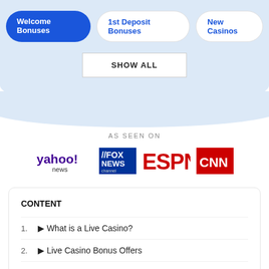Welcome Bonuses
1st Deposit Bonuses
New Casinos
SHOW ALL
AS SEEN ON
[Figure (logo): Yahoo! News, Fox News Channel, ESPN, CNN logos in a row]
CONTENT
🎯 What is a Live Casino?
🎯 Live Casino Bonus Offers
🎯 Live Dealer Casino Games